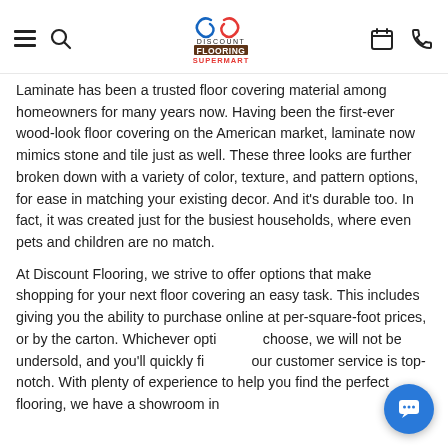Discount Flooring Supermart — navigation header with hamburger, search, logo, calendar, and phone icons
Laminate has been a trusted floor covering material among homeowners for many years now. Having been the first-ever wood-look floor covering on the American market, laminate now mimics stone and tile just as well. These three looks are further broken down with a variety of color, texture, and pattern options, for ease in matching your existing decor. And it's durable too. In fact, it was created just for the busiest households, where even pets and children are no match.
At Discount Flooring, we strive to offer options that make shopping for your next floor covering an easy task. This includes giving you the ability to purchase online at per-square-foot prices, or by the carton. Whichever option you choose, we will not be undersold, and you'll quickly find our customer service is top-notch. With plenty of experience to help you find the perfect flooring, we have a showroom in